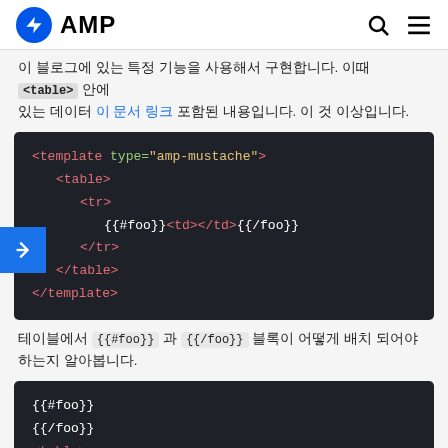AMP
... <table> ... 에 대한 링크 에 대해 자세히 알아보세요. 더 많은 정보입니다.
[Figure (screenshot): Code block showing AMP mustache template with table structure: <template type="amp-mustache"><table><tr>{{#foo}}<td></td>{{/foo}}</tr></table></template>]
테이블에서 {{#foo}} 과 {{/foo}} 블록이 어떻게 배치 되어야 하는지 알아봅니다.
[Figure (screenshot): Code block showing: {{#foo}} {{/foo}} <table> <tr>]